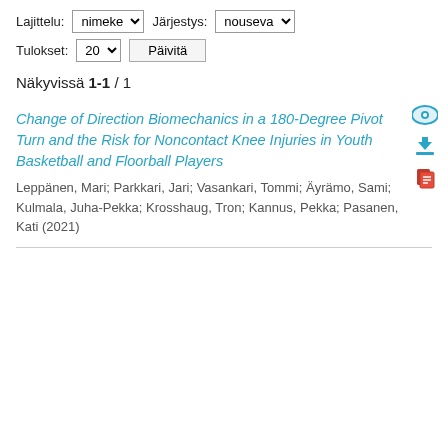Lajittelu: nimeke  Järjestys: nouseva
Tulokset: 20  Päivitä
Näkyvissä 1-1 / 1
Change of Direction Biomechanics in a 180-Degree Pivot Turn and the Risk for Noncontact Knee Injuries in Youth Basketball and Floorball Players
Leppänen, Mari; Parkkari, Jari; Vasankari, Tommi; Äyrämo, Sami; Kulmala, Juha-Pekka; Krosshaug, Tron; Kannus, Pekka; Pasanen, Kati (2021)